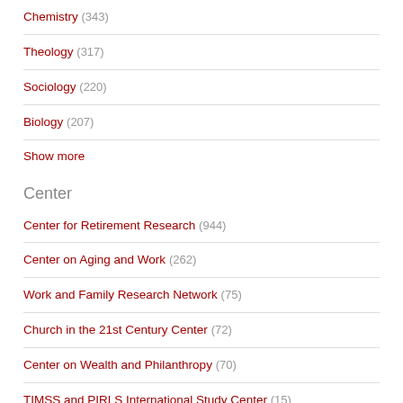Chemistry (343)
Theology (317)
Sociology (220)
Biology (207)
Show more
Center
Center for Retirement Research (944)
Center on Aging and Work (262)
Work and Family Research Network (75)
Church in the 21st Century Center (72)
Center on Wealth and Philanthropy (70)
TIMSS and PIRLS International Study Center (15)
Show more
Genre
thesis (2568)
working paper (1186)